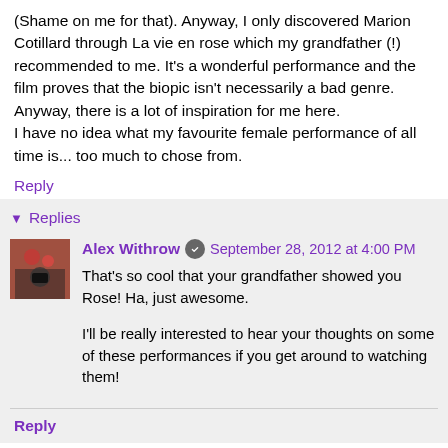(Shame on me for that). Anyway, I only discovered Marion Cotillard through La vie en rose which my grandfather (!) recommended to me. It's a wonderful performance and the film proves that the biopic isn't necessarily a bad genre. Anyway, there is a lot of inspiration for me here.
I have no idea what my favourite female performance of all time is... too much to chose from.
Reply
Replies
Alex Withrow  September 28, 2012 at 4:00 PM
That's so cool that your grandfather showed you Rose! Ha, just awesome.

I'll be really interested to hear your thoughts on some of these performances if you get around to watching them!
Reply